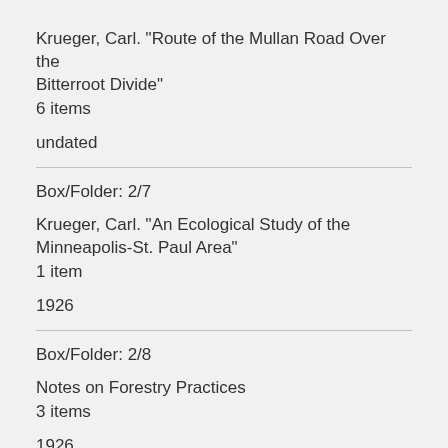Krueger, Carl. "Route of the Mullan Road Over the Bitterroot Divide"
6 items
undated
Box/Folder: 2/7
Krueger, Carl. "An Ecological Study of the Minneapolis-St. Paul Area"
1 item
1926
Box/Folder: 2/8
Notes on Forestry Practices
3 items
1926